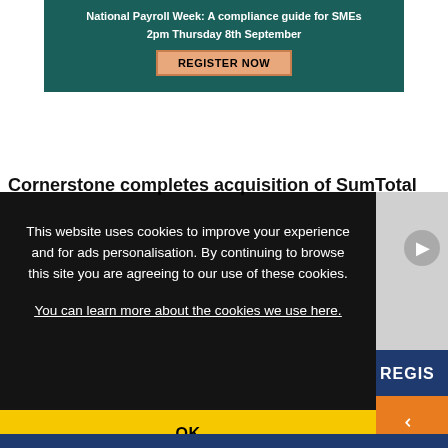[Figure (screenshot): Dark teal banner with text 'National Payroll Week: A compliance guide for SMEs', '2pm Thursday 8th September', and a salmon/orange 'REGISTER NOW' button]
Cornerstone completes acquisition of SumTotal
[Figure (screenshot): Cookie consent overlay popup with dark background reading: 'This website uses cookies to improve your experience and for ads personalisation. By continuing to browse this site you are agreeing to our use of these cookies. You can learn more about the cookies we use here.']
OK